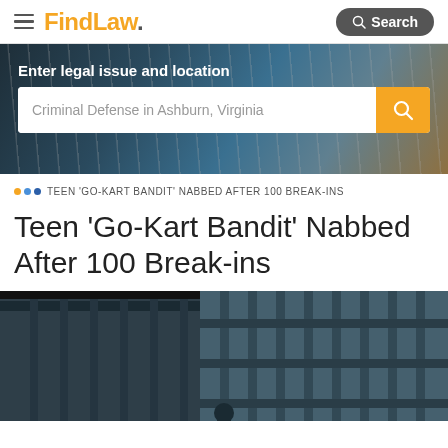FindLaw. | Search
[Figure (screenshot): FindLaw website header with hamburger menu, orange FindLaw logo, and dark Search button]
Enter legal issue and location
Criminal Defense in Ashburn, Virginia
... TEEN 'GO-KART BANDIT' NABBED AFTER 100 BREAK-INS
Teen 'Go-Kart Bandit' Nabbed After 100 Break-ins
[Figure (photo): Photo of prison bars / jail cell bars, dark teal/gray tones]